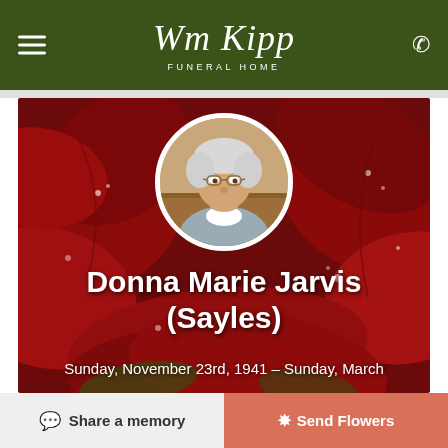Wm Kipp Funeral Home
[Figure (photo): Memorial page hero image: red roses background with circular portrait photo of Donna Marie Jarvis (Sayles), an elderly woman with white hair and glasses, smiling.]
Donna Marie Jarvis (Sayles)
Sunday, November 23rd, 1941 – Sunday, March
Share a memory
Send Flowers